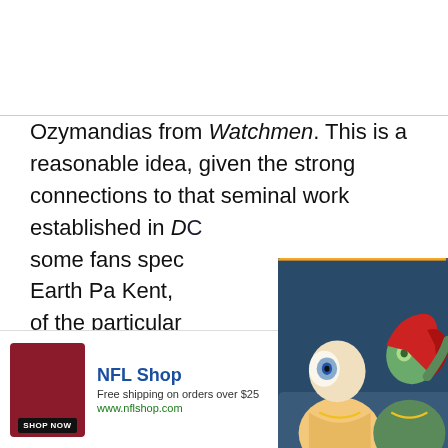Ozymandias from Watchmen. This is a reasonable idea, given the strong connections to that seminal work established in D[…] some fans spec[…] Earth Pa Kent, […] of the particular[…] Ozymandias the[…] Oz's name, sug[…] Kansas and The[…] (as-yet unrevea[…]
[Figure (screenshot): Video popup showing animated characters Harley Quinn and Poison Ivy in a car, with a progress bar at top, close/more buttons, next arrow button, and a caption bar reading 'Harley Quinn renewed']
[Figure (screenshot): NFL Shop advertisement banner with dark red jersey image, Shop Now button, NFL Shop title in blue, 'Free shipping on orders over $25', www.nflshop.com, and a circular CTA button]